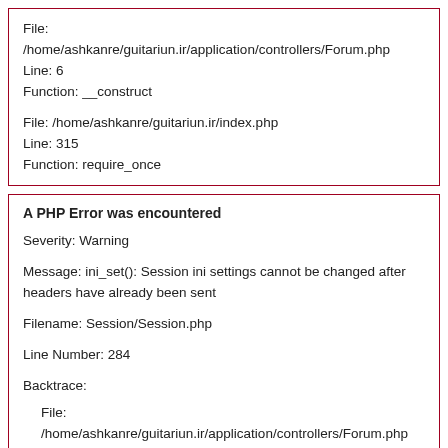File: /home/ashkanre/guitariun.ir/application/controllers/Forum.php
Line: 6
Function: __construct

File: /home/ashkanre/guitariun.ir/index.php
Line: 315
Function: require_once
A PHP Error was encountered
Severity: Warning

Message: ini_set(): Session ini settings cannot be changed after headers have already been sent

Filename: Session/Session.php

Line Number: 284

Backtrace:

File:
/home/ashkanre/guitariun.ir/application/controllers/Forum.php